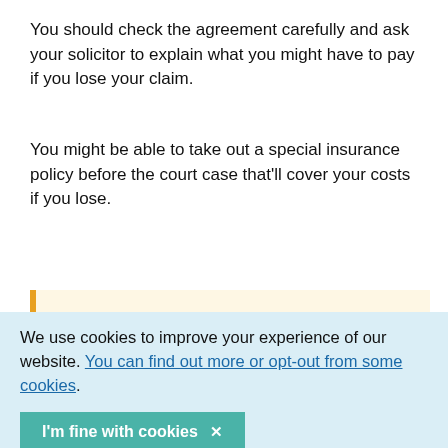You should check the agreement carefully and ask your solicitor to explain what you might have to pay if you lose your claim.
You might be able to take out a special insurance policy before the court case that'll cover your costs if you lose.
Check your no win, no fee agreement
We use cookies to improve your experience of our website. You can find out more or opt-out from some cookies.
I'm fine with cookies ✕